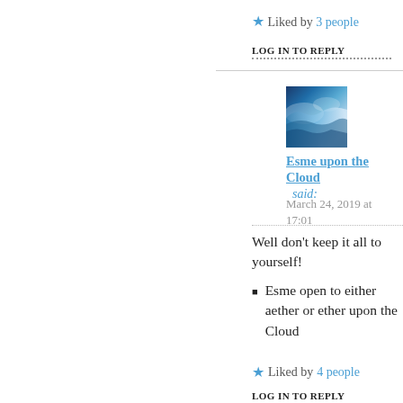★ Liked by 3 people
LOG IN TO REPLY
[Figure (photo): Avatar image of Esme upon the Cloud — blue ocean wave photo]
Esme upon the Cloud said:
March 24, 2019 at 17:01
Well don't keep it all to yourself!
Esme open to either aether or ether upon the Cloud
★ Liked by 4 people
LOG IN TO REPLY